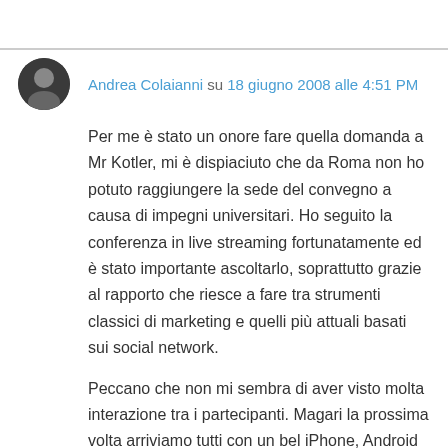Andrea Colaianni su 18 giugno 2008 alle 4:51 PM
Per me è stato un onore fare quella domanda a Mr Kotler, mi è dispiaciuto che da Roma non ho potuto raggiungere la sede del convegno a causa di impegni universitari. Ho seguito la conferenza in live streaming fortunatamente ed è stato importante ascoltarlo, soprattutto grazie al rapporto che riesce a fare tra strumenti classici di marketing e quelli più attuali basati sui social network.
Peccano che non mi sembra di aver visto molta interazione tra i partecipanti. Magari la prossima volta arriviamo tutti con un bel iPhone, Android o quello che vi pare e interagiamo grazie alle